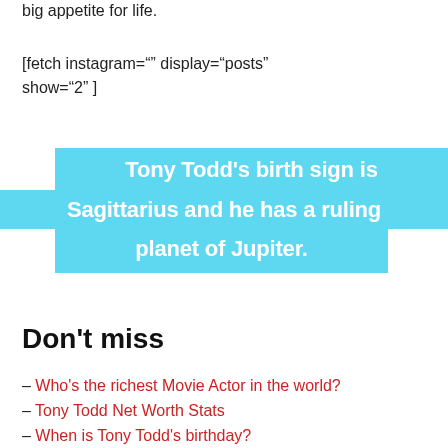big appetite for life.
[fetch instagram="" display="posts" show="2" ]
[Figure (infographic): Cyan/light-blue highlighted text block reading: Tony Todd's birth sign is Sagittarius and he has a ruling planet of Jupiter.]
Don't miss
– Who's the richest Movie Actor in the world?
– Tony Todd Net Worth Stats
– When is Tony Todd's birthday?